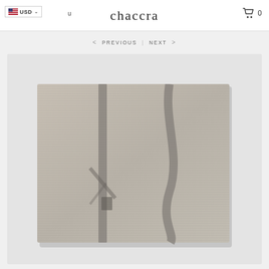USD  u  chaccra  0
< PREVIOUS  |  NEXT >
[Figure (photo): A square hand-knotted rug in light grey/beige tones with abstract darker grey curved and linear stripe patterns, displayed flat against a light grey background.]